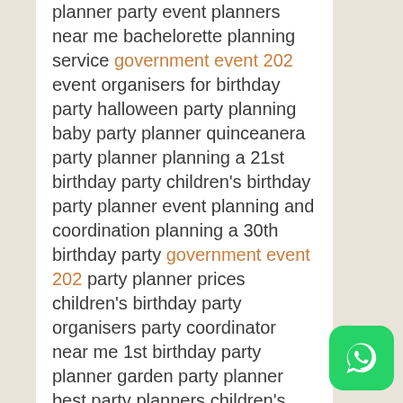planner party event planners near me bachelorette planning service government event 202 event organisers for birthday party halloween party planning baby party planner quinceanera party planner planning a 21st birthday party children's birthday party planner event planning and coordination planning a 30th birthday party government event 202 party planner prices children's birthday party organisers party coordinator near me 1st birthday party planner garden party planner best party planners children's party planning companies university event planner government event 202 best colleges for event management top colleges for event management event management courses open university best universities for event management in the world event planning masters best universities for event management colleges offering event management
[Figure (logo): WhatsApp logo button — green rounded square with white phone handset icon]